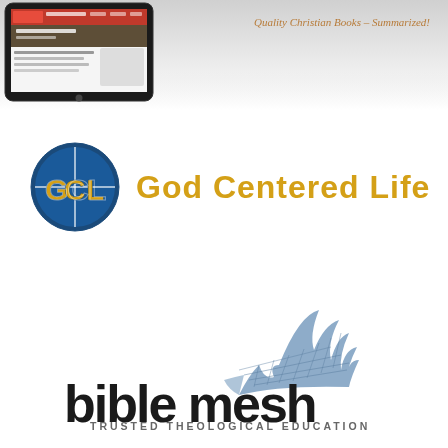[Figure (screenshot): Top banner showing a tablet device with a website screenshot and italic text 'Quality Christian Books - Summarized!' in brown on the right side]
[Figure (logo): God Centered Life logo: blue circle with 'GCL' letters in yellow/gold on dark blue background, next to bold yellow text 'God Centered Life']
[Figure (logo): Bible Mesh logo: stylized blue fish/wing mesh graphic above bold dark text 'bible mesh' with subtitle 'TRUSTED THEOLOGICAL EDUCATION']